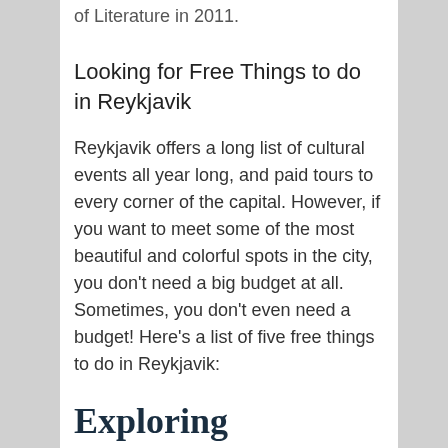of Literature in 2011.
Looking for Free Things to do in Reykjavik
Reykjavik offers a long list of cultural events all year long, and paid tours to every corner of the capital. However, if you want to meet some of the most beautiful and colorful spots in the city, you don't need a big budget at all. Sometimes, you don't even need a budget! Here's a list of five free things to do in Reykjavik:
Exploring Elliðaárdalur
[Figure (photo): Dramatic cloudy sky photo, likely an outdoor landscape in Iceland]